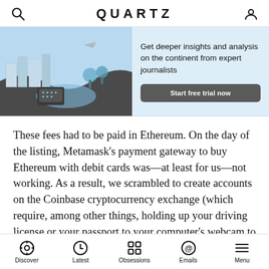QUARTZ
[Figure (illustration): Quartz Africa subscription banner with illustrated city/map graphic in blue tones and 'Get deeper insights and analysis on the continent from expert journalists' text and 'Start free trial now' button]
These fees had to be paid in Ethereum. On the day of the listing, Metamask's payment gateway to buy Ethereum with debit cards was—at least for us—not working. As a result, we scrambled to create accounts on the Coinbase cryptocurrency exchange (which require, among other things, holding up your driving license or your passport to your computer's webcam to verify your identity), buy Ethereum, transfer it to the Metamask wallet, and fund
Discover   Latest   Obsessions   Emails   Menu